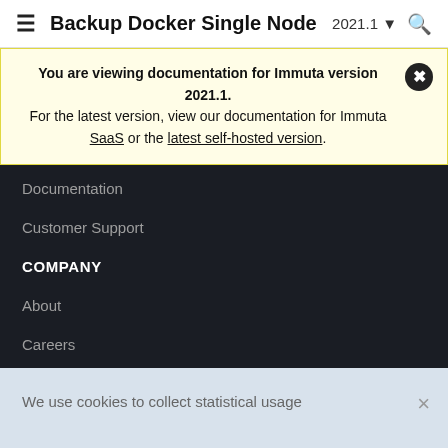≡  Backup Docker Single Node    2021.1 ▾    🔍
You are viewing documentation for Immuta version 2021.1. For the latest version, view our documentation for Immuta SaaS or the latest self-hosted version.
Documentation
Customer Support
COMPANY
About
Careers
We use cookies to collect statistical usage information about our website and its visitors. Please read our Privacy Policy to learn more.